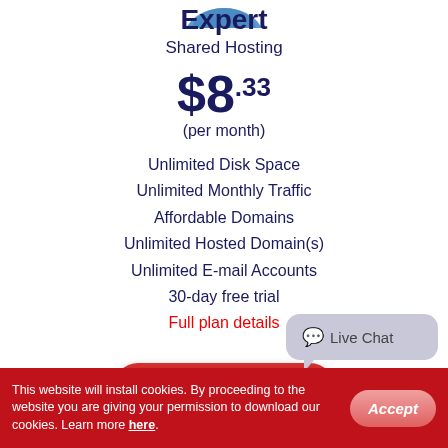[Figure (illustration): Partial blue rounded shape/icon at top of page (hosting plan icon, mostly cropped)]
Expert
Shared Hosting
$8.33
(per month)
Unlimited Disk Space
Unlimited Monthly Traffic
Affordable Domains
Unlimited Hosted Domain(s)
Unlimited E-mail Accounts
30-day free trial
Full plan details
Start Free Trial
Live Chat
This website will install cookies. By proceeding to the website you are giving your permission to download our cookies. Learn more here.